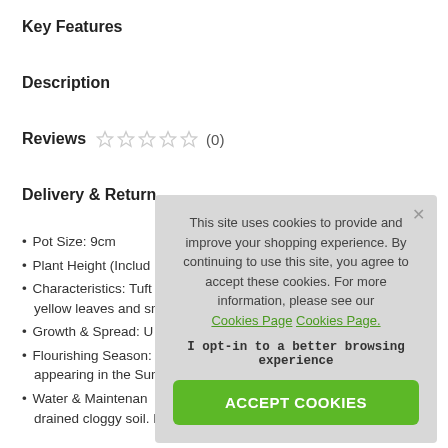Key Features
Description
Reviews ☆☆☆☆☆ (0)
Delivery & Return
Pot Size: 9cm
Plant Height (Includ...
Characteristics: Tuft... yellow leaves and sma...
Growth & Spread: U...
Flourishing Season: ... appearing in the Summ...
Water & Maintenan... drained cloggy soil. M...
This site uses cookies to provide and improve your shopping experience. By continuing to use this site, you agree to accept these cookies. For more information, please see our Cookies Page Cookies Page. I opt-in to a better browsing experience ACCEPT COOKIES